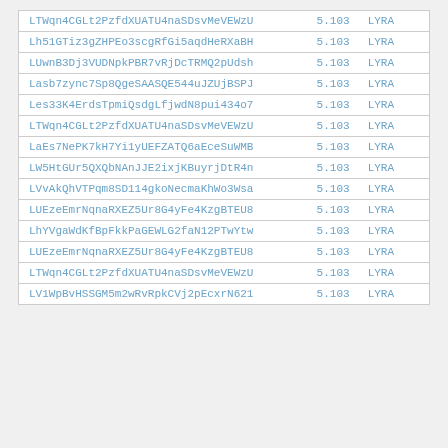| LTWqn4CGLt2PzfdXUATU4naSDsvMeVEWzU | 5.103 | LYRA |
| Lh51GTiz3gZHPEo3scgRfGi5aqdHeRXaBH | 5.103 | LYRA |
| LUwnB3Dj3VUDNpkPBR7vRjDcTRMQ2pUdsh | 5.103 | LYRA |
| Lasb7zync7Sp8QgeSAASQE544uJZUjBSPJ | 5.103 | LYRA |
| Les33K4ErdsTpmiQsdgLfjwdN8pui434o7 | 5.103 | LYRA |
| LTWqn4CGLt2PzfdXUATU4naSDsvMeVEWzU | 5.103 | LYRA |
| LaEs7NePK7kH7Yi1yUEFZATQ6aEceSuWMB | 5.103 | LYRA |
| LW5HtGUr5QXQbNAnJJE2ixjKBuyrjDtR4n | 5.103 | LYRA |
| LVvAkQhVTPqm8SD114gkoNecmaKhWo3Wsa | 5.103 | LYRA |
| LUEzeEmrNqnaRXEZ5Ur8G4yFe4KzgBTEU8 | 5.103 | LYRA |
| LhYVgaWdKfBpFkkPaGEWLG2faN12PTwYtw | 5.103 | LYRA |
| LUEzeEmrNqnaRXEZ5Ur8G4yFe4KzgBTEU8 | 5.103 | LYRA |
| LTWqn4CGLt2PzfdXUATU4naSDsvMeVEWzU | 5.103 | LYRA |
| LV1WpBvHSSGM5m2wRvRpkCVj2pEcxrN621 | 5.103 | LYRA |